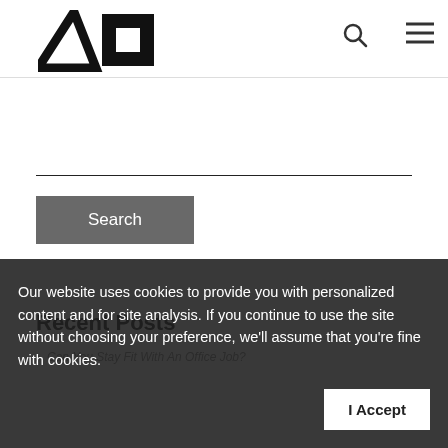[Figure (logo): AO logo — two geometric shapes: a triangle and a square outline in black]
[Figure (other): Search magnifying glass icon]
[Figure (other): Hamburger menu icon (three horizontal lines)]
Search
Recent Posts
Can You Stay Fit With An Office Job?
Our website uses cookies to provide you with personalized content and for site analysis. If you continue to use the site without choosing your preference, we'll assume that you're fine with cookies.
I Accept